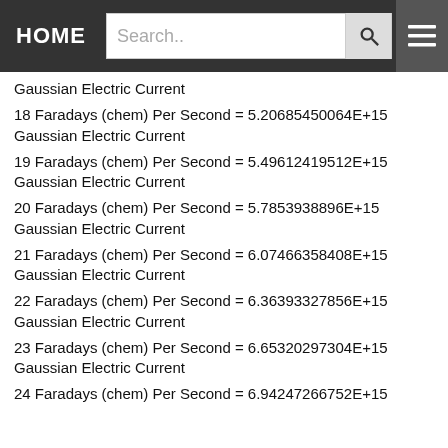HOME  Search..
Gaussian Electric Current
18 Faradays (chem) Per Second = 5.20685450064E+15 Gaussian Electric Current
19 Faradays (chem) Per Second = 5.49612419512E+15 Gaussian Electric Current
20 Faradays (chem) Per Second = 5.7853938896E+15 Gaussian Electric Current
21 Faradays (chem) Per Second = 6.07466358408E+15 Gaussian Electric Current
22 Faradays (chem) Per Second = 6.36393327856E+15 Gaussian Electric Current
23 Faradays (chem) Per Second = 6.65320297304E+15 Gaussian Electric Current
24 Faradays (chem) Per Second = 6.94247266752E+15